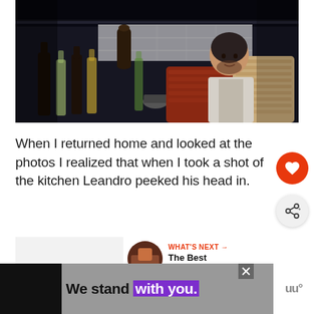[Figure (photo): A dark restaurant kitchen scene showing a chef (Leandro) peeking his head in, with bottles of wine/oil, a pepper grinder, and stacks of plates visible on the counter]
When I returned home and looked at the photos I realized that when I took a shot of the kitchen Leandro peeked his head in.
[Figure (photo): Thumbnail image for 'What's Next' panel showing a small circular photo]
WHAT'S NEXT → The Best Buenos Aire...
[Figure (other): Advertisement banner: 'We stand with you.' in black and white/purple colors with a close button and logo]